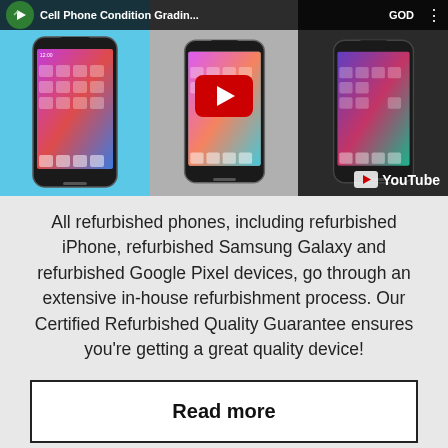[Figure (screenshot): YouTube video thumbnail showing three iPhone X devices — one on a blue background (left), one on a gray background (center) with a YouTube play button overlay, and one on a dark background (right) with YouTube branding. Top bar shows 'Cell Phone Condition Gradin...' title with a green channel logo.]
All refurbished phones, including refurbished iPhone, refurbished Samsung Galaxy and refurbished Google Pixel devices, go through an extensive in-house refurbishment process. Our Certified Refurbished Quality Guarantee ensures you're getting a great quality device!
Read more